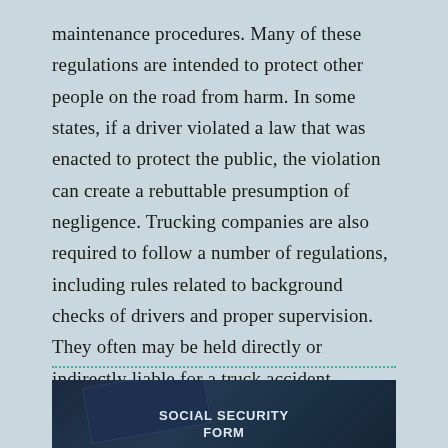maintenance procedures. Many of these regulations are intended to protect other people on the road from harm. In some states, if a driver violated a law that was enacted to protect the public, the violation can create a rebuttable presumption of negligence. Trucking companies are also required to follow a number of regulations, including rules related to background checks of drivers and proper supervision. They often may be held directly or indirectly liable for a truck accident.
[Figure (photo): A dark blue-toned photograph showing what appears to be a Social Security benefit form, partially visible with the text 'SOCIAL SECURITY' and 'FORM' visible.]